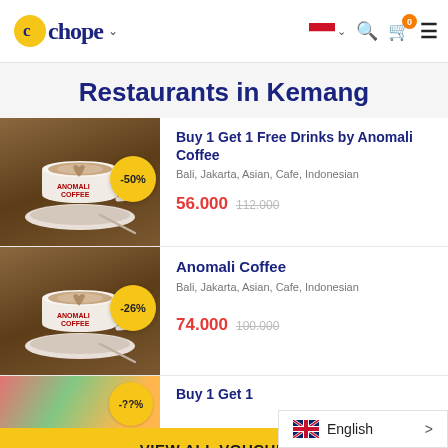Chope — Restaurants in Kemang
Restaurants in Kemang
[Figure (screenshot): Coffee cup latte art on saucer with Anomali Coffee logo, discount badge -50%]
Buy 1 Get 1 Free Drinks by Anomali Coffee
Bali, Jakarta, Asian, Cafe, Indonesian
56.000  112.000
[Figure (screenshot): Coffee cup latte art on saucer with Anomali Coffee logo, discount badge -26%]
Anomali Coffee
Bali, Jakarta, Asian, Cafe, Indonesian
74.000  100.000
[Figure (screenshot): Partial third card with food image, Buy 1 Get 1 text]
Buy 1 Get 1
VIEW ALL VOUCHERS
English >